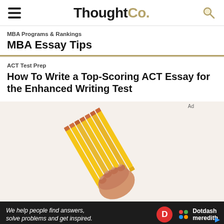ThoughtCo.
MBA Programs & Rankings
MBA Essay Tips
ACT Test Prep
How To Write a Top-Scoring ACT Essay for the Enhanced Writing Test
[Figure (photo): A hand gripping a bundle of yellow pencils against a white background.]
We help people find answers, solve problems and get inspired. Dotdash meredith